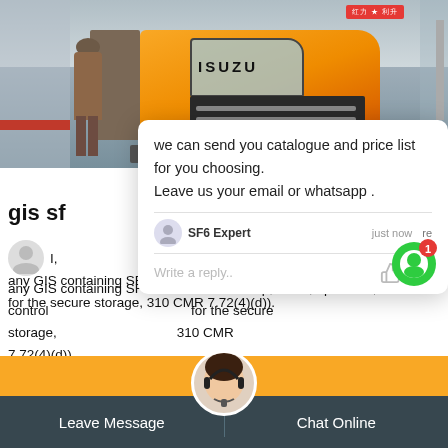[Figure (photo): Photo of a yellow ISUZU truck in a snowy/industrial area, with a person standing in front of it. Red Chinese label in top right. '6China' watermark in orange at bottom right of photo.]
we can send you catalogue and price list for you choosing.
Leave us your email or whatsapp .
SF6 Expert    just now    re
Write a reply..
gis sf
any GIS containing SF6 from the ownership, lease, operation, or control for the secure storage, 310 CMR 7.72(4)(d)).
Leave Message
Chat Online